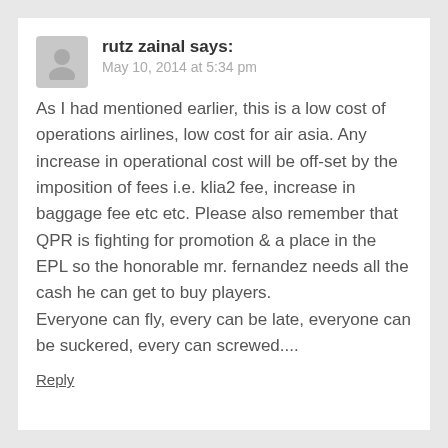rutz zainal says:
May 10, 2014 at 5:34 pm
As I had mentioned earlier, this is a low cost of operations airlines, low cost for air asia. Any increase in operational cost will be off-set by the imposition of fees i.e. klia2 fee, increase in baggage fee etc etc. Please also remember that QPR is fighting for promotion & a place in the EPL so the honorable mr. fernandez needs all the cash he can get to buy players.
Everyone can fly, every can be late, everyone can be suckered, every can screwed....
Reply